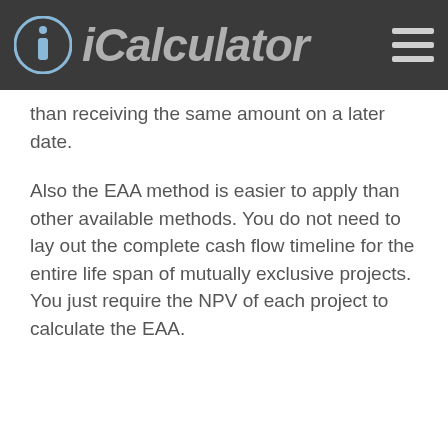iCalculator
than receiving the same amount on a later date.
Also the EAA method is easier to apply than other available methods. You do not need to lay out the complete cash flow timeline for the entire life span of mutually exclusive projects. You just require the NPV of each project to calculate the EAA.